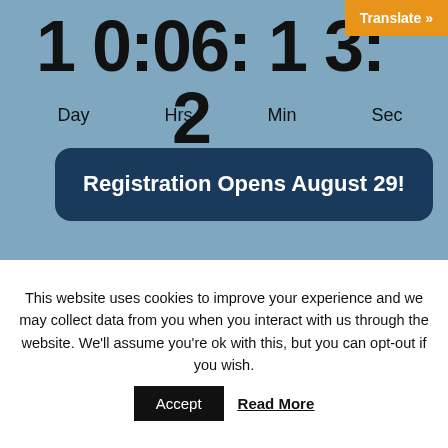[Figure (screenshot): Countdown timer showing 10 days, 06 hours, 13 minutes, 25 seconds with labels Day, Hrs, Min, Sec on a blue-grey background]
Registration Opens August 29!
Share the Excitement on
This website uses cookies to improve your experience and we may collect data from you when you interact with us through the website. We'll assume you're ok with this, but you can opt-out if you wish.
Accept
Read More